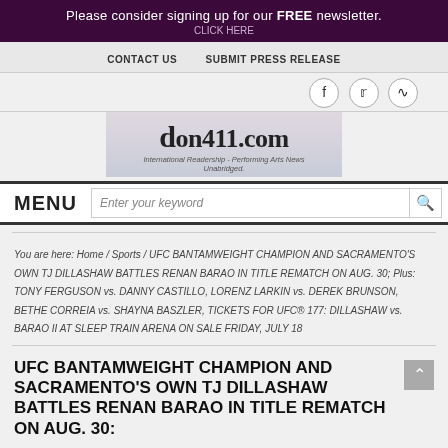Please consider signing up for our FREE newsletter.
CONTACT US   SUBMIT PRESS RELEASE
[Figure (logo): don411.com logo with globe background. Text: don411.com, International Readership - Performing Arts News Unabridged.]
MENU  Enter your keyword
You are here: Home / Sports / UFC BANTAMWEIGHT CHAMPION AND SACRAMENTO'S OWN TJ DILLASHAW BATTLES RENAN BARAO IN TITLE REMATCH ON AUG. 30; Plus: TONY FERGUSON vs. DANNY CASTILLO, LORENZ LARKIN vs. DEREK BRUNSON, BETHE CORREIA vs. SHAYNA BASZLER, TICKETS FOR UFC® 177: DILLASHAW vs. BARAO II AT SLEEP TRAIN ARENA ON SALE FRIDAY, JULY 18
UFC BANTAMWEIGHT CHAMPION AND SACRAMENTO'S OWN TJ DILLASHAW BATTLES RENAN BARAO IN TITLE REMATCH ON AUG. 30: